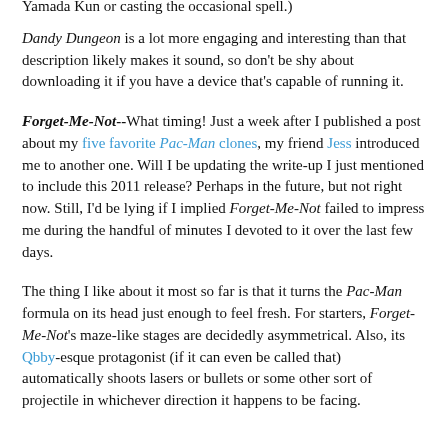Yamada Kun or casting the occasional spell.) Dandy Dungeon is a lot more engaging and interesting than that description likely makes it sound, so don't be shy about downloading it if you have a device that's capable of running it.
Forget-Me-Not--What timing! Just a week after I published a post about my five favorite Pac-Man clones, my friend Jess introduced me to another one. Will I be updating the write-up I just mentioned to include this 2011 release? Perhaps in the future, but not right now. Still, I'd be lying if I implied Forget-Me-Not failed to impress me during the handful of minutes I devoted to it over the last few days.
The thing I like about it most so far is that it turns the Pac-Man formula on its head just enough to feel fresh. For starters, Forget-Me-Not's maze-like stages are decidedly asymmetrical. Also, its Qbby-esque protagonist (if it can even be called that) automatically shoots lasers or bullets or some other sort of projectile in whichever direction it happens to be facing.